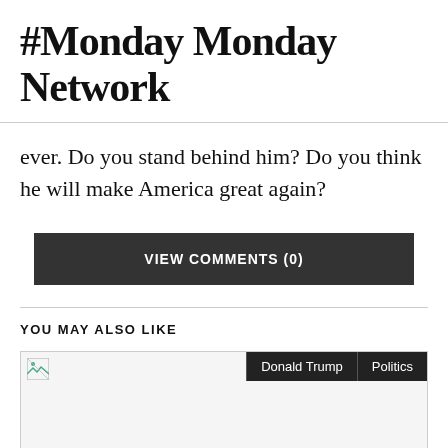#Monday Monday Network
ever. Do you stand behind him? Do you think he will make America great again?
VIEW COMMENTS (0)
YOU MAY ALSO LIKE
[Figure (photo): Thumbnail image placeholder with broken image icon and tags 'Donald Trump' and 'Politics']